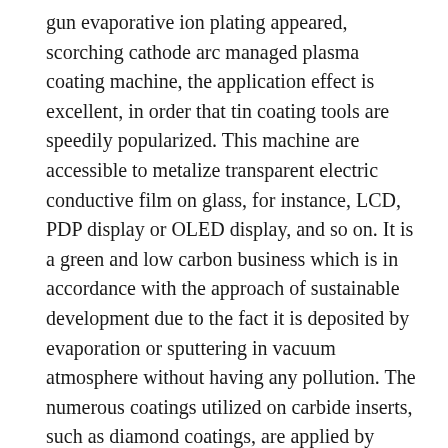gun evaporative ion plating appeared, scorching cathode arc managed plasma coating machine, the application effect is excellent, in order that tin coating tools are speedily popularized. This machine are accessible to metalize transparent electric conductive film on glass, for instance, LCD, PDP display or OLED display, and so on. It is a green and low carbon business which is in accordance with the approach of sustainable development due to the fact it is deposited by evaporation or sputtering in vacuum atmosphere without having any pollution. The numerous coatings utilized on carbide inserts, such as diamond coatings, are applied by chemical vapor deposition, or CVD. By way of controlling of the parameters of coating process, we can handle the colors of the PVD coatings. By way of controlling of the parameters of coating method, we will control the colors of the PVD coatings. In the optical coating, it is typically nothing more than a make contact with glass, optical aerospace sector for reasonably scarce material by means of the optical film coating